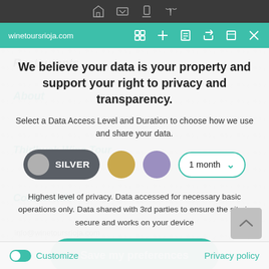winetoursrioja.com
We believe your data is your property and support your right to privacy and transparency.
Select a Data Access Level and Duration to choose how we use and share your data.
[Figure (infographic): Privacy level selector with Silver toggle pill, gold circle, purple circle, and a '1 month' duration dropdown]
Highest level of privacy. Data accessed for necessary basic operations only. Data shared with 3rd parties to ensure the site is secure and works on your device
Save my preferences
Customize    Privacy policy